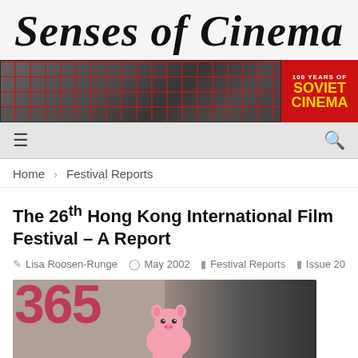Senses of Cinema
[Figure (photo): Banner image showing a grid of film stills/thumbnails with a red '100 Years of Soviet Cinema' promotional panel on the right]
☰ (menu icon) and 🔍 (search icon) navigation bar
Home > Festival Reports
The 26th Hong Kong International Film Festival – A Report
Lisa Roosen-Runge  May 2002  Festival Reports  Issue 20
[Figure (photo): Photo showing a cartoon pink pig character in front of a background with large numbers 365]